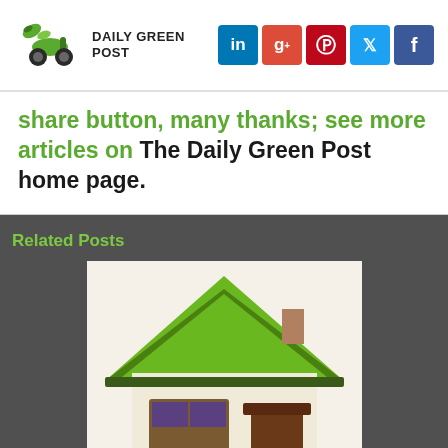Daily Green Post — with social icons: LinkedIn, G+, Pinterest, Twitter, Facebook
share button, many thanks; see more articles on The Daily Green Post home page.
Related Posts
[Figure (illustration): Illustration of a green-roofed house with windows and a door, representing a home energy article.]